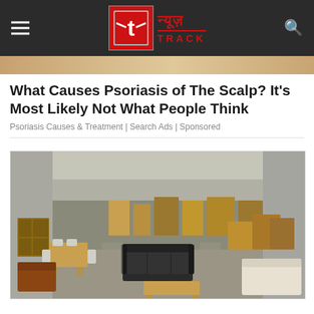[Figure (logo): News Track logo with red box containing stylized 't' icon and Hindi/English text न्यूज़ TRACK on dark header bar]
[Figure (photo): Partial top image strip showing skin/scalp background, cropped]
What Causes Psoriasis of The Scalp? It's Most Likely Not What People Think
Psoriasis Causes & Treatment | Search Ads | Sponsored
[Figure (photo): Large warehouse furniture showroom with wooden furniture sets, sofas, tables, chairs, drawers displayed across a large open floor space]